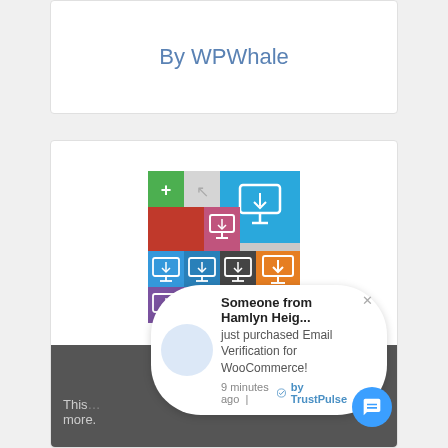By WPWhale
[Figure (screenshot): Plugin icon for Checkout Files Upload for WooCommerce — a mosaic grid of colored tiles (green, blue, red, magenta, gray, orange, dark, purple) each showing a monitor/download icon]
Checkout Files Upload for WooCommerce
This... more.
Someone from Hamlyn Heig...
just purchased Email Verification for WooCommerce!
9 minutes ago | by TrustPulse